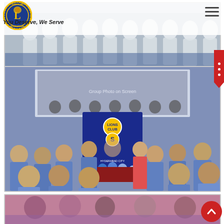[Figure (photo): Lions International logo — circular emblem with lion head and 'L' letter, gold and blue colors]
You Deserve, We Serve
[Figure (photo): Group photo at top showing people in white attire, partially visible, cropped]
[Figure (photo): Large group photo of Lions Club Hyderabad members in blue blazers standing around a table with a Lions Club banner/board. Background shows a large group photo on screen.]
[Figure (photo): Partially visible bottom photo strip showing people, pinkish/purple tones]